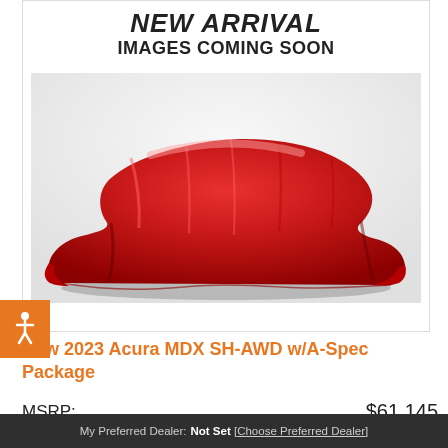[Figure (illustration): Car dealership listing image showing a car covered by a red drape/cloth with 'NEW ARRIVAL IMAGES COMING SOON' text above it on a white background]
New 2023 Acura MDX SH-AWD w/A-Spec Package
MSRP: $61,145
Contact Us
My Preferred Dealer: Not Set [Choose Preferred Dealer]